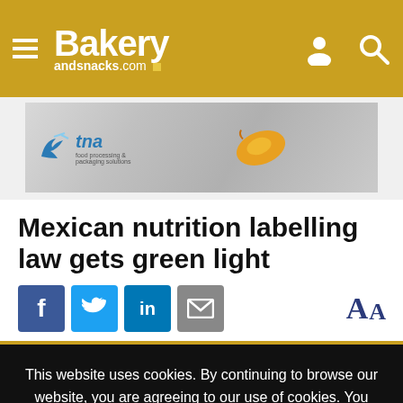Bakery andsnacks.com
[Figure (other): TNA food processing and packaging solutions advertisement banner with silver gradient background and golden snack illustration]
Mexican nutrition labelling law gets green light
[Figure (infographic): Social sharing icons: Facebook (blue), Twitter (light blue), LinkedIn (blue), Email (grey), and font size AA control on right]
This website uses cookies. By continuing to browse our website, you are agreeing to our use of cookies. You can learn more about cookies by visiting our privacy & cookies policy page.